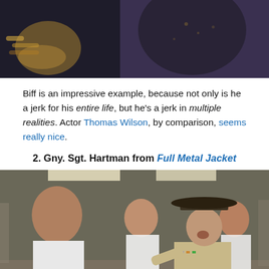[Figure (photo): Top cropped photo showing two people close together, one wearing jewelry and a decorated jacket]
Biff is an impressive example, because not only is he a jerk for his entire life, but he's a jerk in multiple realities. Actor Thomas Wilson, by comparison, seems really nice.
2. Gny. Sgt. Hartman from Full Metal Jacket
[Figure (photo): Scene from Full Metal Jacket showing a drill sergeant in a campaign hat yelling at a bald recruit while other recruits stand in the background in a barracks setting]